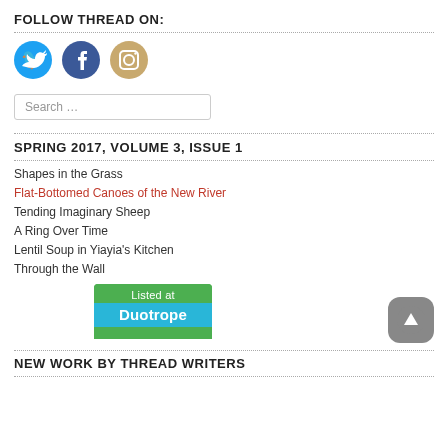FOLLOW THREAD ON:
[Figure (illustration): Three social media icons: Twitter (blue bird), Facebook (dark blue f), Instagram (camera icon)]
Search …
SPRING 2017, VOLUME 3, ISSUE 1
Shapes in the Grass
Flat-Bottomed Canoes of the New River
Tending Imaginary Sheep
A Ring Over Time
Lentil Soup in Yiayia's Kitchen
Through the Wall
[Figure (logo): Listed at Duotrope badge — green top with 'Listed at', blue bottom with 'Duotrope']
NEW WORK BY THREAD WRITERS